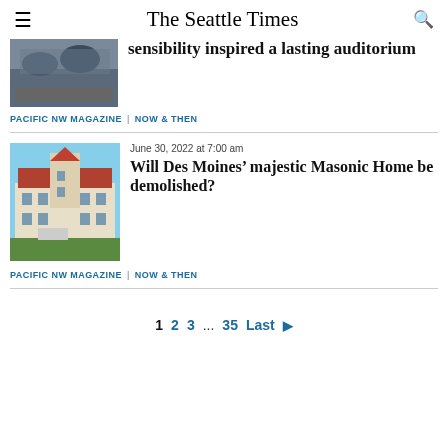The Seattle Times
[Figure (photo): People on a skate ramp or steps, partially visible, cropped at top]
sensibility inspired a lasting auditorium
PACIFIC NW MAGAZINE  |  NOW & THEN
[Figure (photo): Large historic building, Masonic Home in Des Moines, Gothic-style architecture with red roof]
June 30, 2022 at 7:00 am
Will Des Moines' majestic Masonic Home be demolished?
PACIFIC NW MAGAZINE  |  NOW & THEN
1  2  3  ...  35  Last ▶